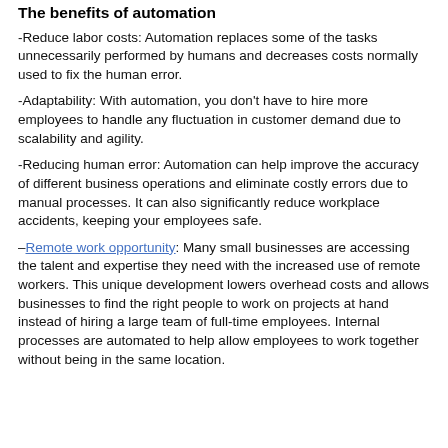The benefits of automation
-Reduce labor costs: Automation replaces some of the tasks unnecessarily performed by humans and decreases costs normally used to fix the human error.
-Adaptability: With automation, you don't have to hire more employees to handle any fluctuation in customer demand due to scalability and agility.
-Reducing human error: Automation can help improve the accuracy of different business operations and eliminate costly errors due to manual processes. It can also significantly reduce workplace accidents, keeping your employees safe.
–Remote work opportunity: Many small businesses are accessing the talent and expertise they need with the increased use of remote workers. This unique development lowers overhead costs and allows businesses to find the right people to work on projects at hand instead of hiring a large team of full-time employees. Internal processes are automated to help allow employees to work together without being in the same location.